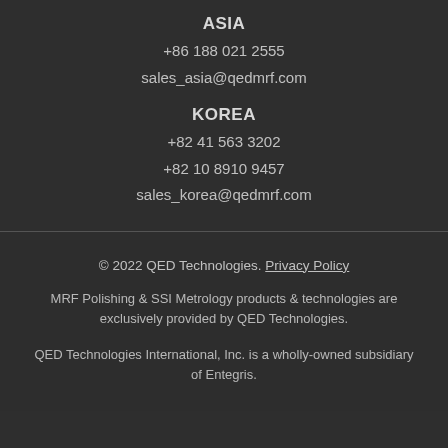ASIA
+86 188 021 2555
sales_asia@qedmrf.com
KOREA
+82 41 563 3202
+82 10 8910 9457
sales_korea@qedmrf.com
© 2022 QED Technologies. Privacy Policy
MRF Polishing & SSI Metrology products & technologies are exclusively provided by QED Technologies.
QED Technologies International, Inc. is a wholly-owned subsidiary of Entegris.